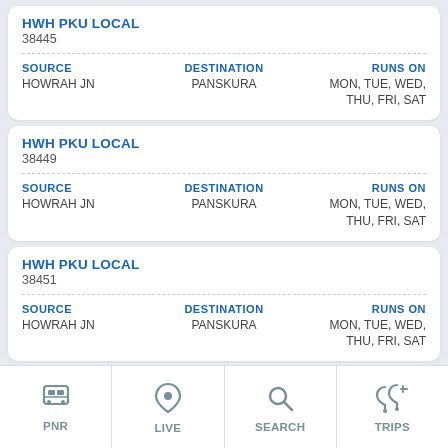HWH PKU LOCAL
38445
| SOURCE | DESTINATION | RUNS ON |
| --- | --- | --- |
| HOWRAH JN | PANSKURA | MON, TUE, WED, THU, FRI, SAT |
HWH PKU LOCAL
38449
| SOURCE | DESTINATION | RUNS ON |
| --- | --- | --- |
| HOWRAH JN | PANSKURA | MON, TUE, WED, THU, FRI, SAT |
HWH PKU LOCAL
38451
| SOURCE | DESTINATION | RUNS ON |
| --- | --- | --- |
| HOWRAH JN | PANSKURA | MON, TUE, WED, THU, FRI, SAT |
HWH - KIG SUB LOCAL
38601
PNR  LIVE  SEARCH  TRIPS